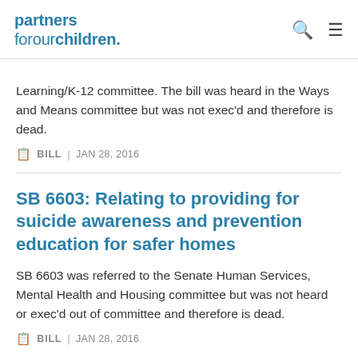partners forourchildren
Learning/K-12 committee. The bill was heard in the Ways and Means committee but was not exec'd and therefore is dead.
BILL | JAN 28, 2016
SB 6603: Relating to providing for suicide awareness and prevention education for safer homes
SB 6603 was referred to the Senate Human Services, Mental Health and Housing committee but was not heard or exec'd out of committee and therefore is dead.
BILL | JAN 28, 2016